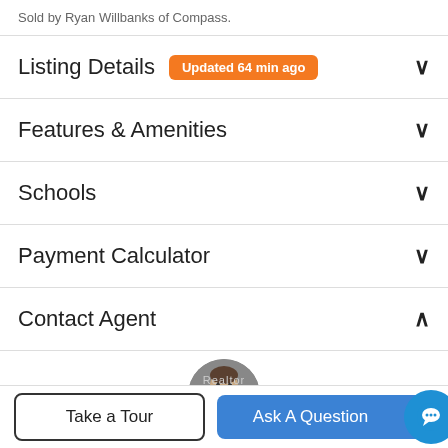Sold by Ryan Willbanks of Compass.
Listing Details
Features & Amenities
Schools
Payment Calculator
Contact Agent
[Figure (photo): Circular profile photo of a man (agent photo)]
Take a Tour
Ask A Question